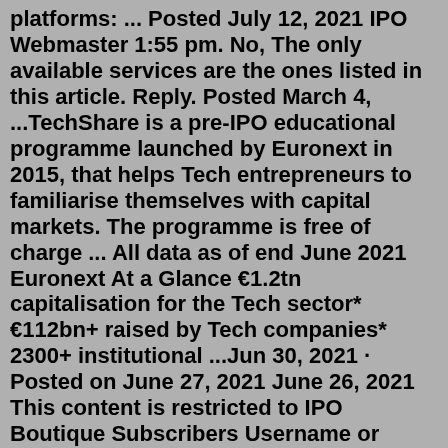platforms: ... Posted July 12, 2021 IPO Webmaster 1:55 pm. No, The only available services are the ones listed in this article. Reply. Posted March 4, ...TechShare is a pre-IPO educational programme launched by Euronext in 2015, that helps Tech entrepreneurs to familiarise themselves with capital markets. The programme is free of charge ... All data as of end June 2021 Euronext At a Glance €1.2tn capitalisation for the Tech sector* €112bn+ raised by Tech companies* 2300+ institutional ...Jun 30, 2021 · Posted on June 27, 2021 June 26, 2021 This content is restricted to IPO Boutique Subscribers Username or Email Password Remember me Lost your password? Become a Subscriber Disclaimer IPO Boutique aggregates information on public companies and private companies, which is intended to educate our readers and help them evaluate potential investment ... Financial Calendars - Yahoo Finance. Events Calendar for: Jul 31, 2022 - Aug 06, 2022. Prev. 31 Jul Sun. 9 Earnings 1 IPO Pricings 20 Economic Events. 1 Aug Mon. An Initial Public Offering (IPO) allows a